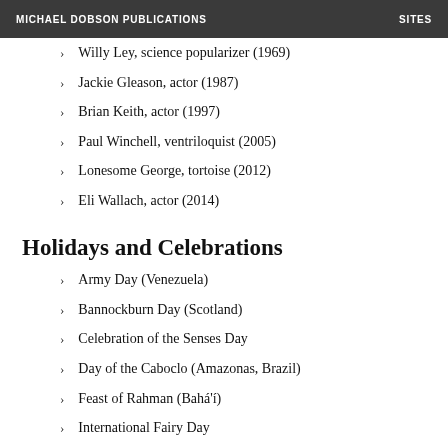MICHAEL DOBSON PUBLICATIONS   SITES
Willy Ley, science popularizer (1969)
Jackie Gleason, actor (1987)
Brian Keith, actor (1997)
Paul Winchell, ventriloquist (2005)
Lonesome George, tortoise (2012)
Eli Wallach, actor (2014)
Holidays and Celebrations
Army Day (Venezuela)
Bannockburn Day (Scotland)
Celebration of the Senses Day
Day of the Caboclo (Amazonas, Brazil)
Feast of Rahman (Bahá'í)
International Fairy Day